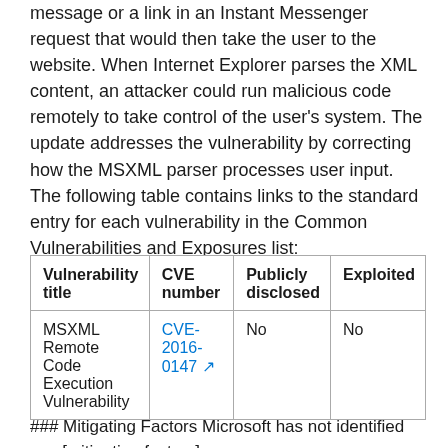message or a link in an Instant Messenger request that would then take the user to the website. When Internet Explorer parses the XML content, an attacker could run malicious code remotely to take control of the user's system. The update addresses the vulnerability by correcting how the MSXML parser processes user input. The following table contains links to the standard entry for each vulnerability in the Common Vulnerabilities and Exposures list:
| Vulnerability title | CVE number | Publicly disclosed | Exploited |
| --- | --- | --- | --- |
| MSXML Remote Code Execution Vulnerability | CVE-2016-0147 | No | No |
### Mitigating Factors Microsoft has not identified any [mitigating factors]